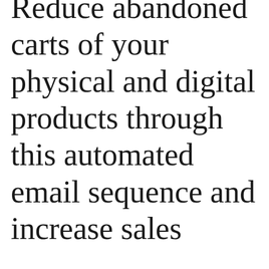Reduce abandoned carts of your physical and digital products through this automated email sequence and increase sales